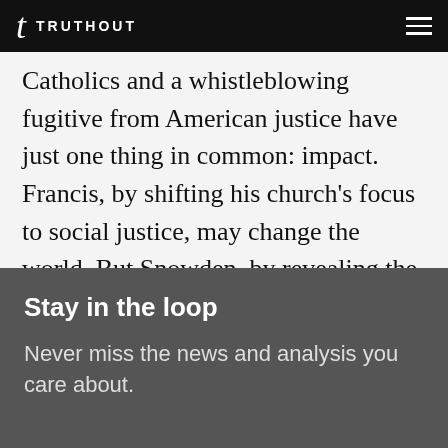TRUTHOUT
Catholics and a whistleblowing fugitive from American justice have just one thing in common: impact. Francis, by shifting his church's focus to social justice, may change the world. But Snowden, by revealing the vast extent of government surveillance, already has.
Stay in the loop
Never miss the news and analysis you care about.